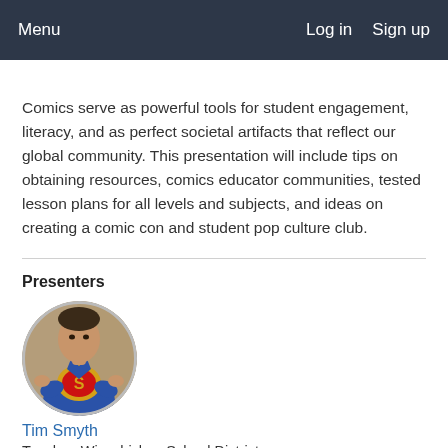Menu    Log in    Sign up
Comics serve as powerful tools for student engagement, literacy, and as perfect societal artifacts that reflect our global community. This presentation will include tips on obtaining resources, comics educator communities, tested lesson plans for all levels and subjects, and ideas on creating a comic con and student pop culture club.
Presenters
[Figure (photo): Circular profile photo of Tim Smyth wearing a Superman shirt, posing in front of shelves]
Tim Smyth
Teacher, Wissahickon School District